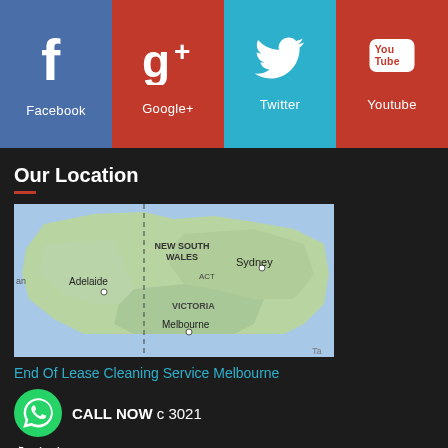[Figure (infographic): Social media tile bar with four icons: Facebook (blue), Google+ (red), Twitter (cyan), Youtube (red). Each tile shows a social media icon and label in white.]
Our Location
[Figure (map): Google map showing south-eastern Australia including states Victoria, New South Wales, ACT, and cities Melbourne, Sydney, Adelaide. A dashed vertical line crosses near Adelaide.]
End Of Lease Cleaning Service Melbourne
CALL NOW c 3021
(03) 7018 0738